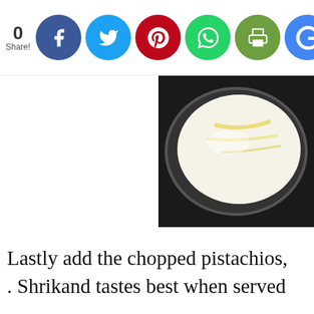0 Share! [social share buttons: Facebook, Twitter, Pinterest, WhatsApp, Print, Google+]
[Figure (photo): A bowl of creamy white shrikand dessert with yellow saffron streaks, shot from above on a dark background.]
Lastly add the chopped pistachios, . Shrikand tastes best when served
[Figure (photo): A bowl of creamy shrikand with saffron garnish, partially visible. A dark overlay at the bottom shows a Follow button with Facebook and Twitter icons.]